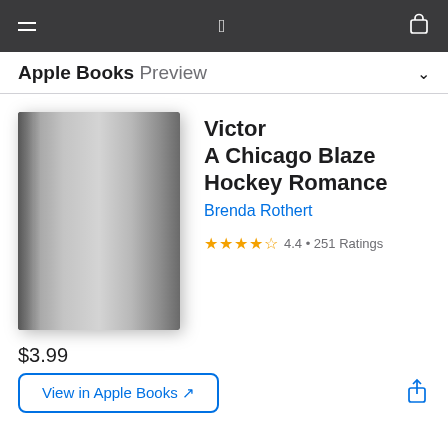Apple Books Preview
[Figure (illustration): Gray book cover with spine shadow — placeholder cover for Victor: A Chicago Blaze Hockey Romance]
Victor
A Chicago Blaze Hockey Romance
Brenda Rothert
★★★★★ 4.4 • 251 Ratings
$3.99
View in Apple Books ↗